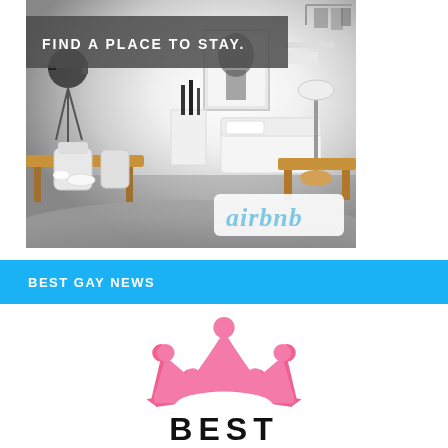[Figure (photo): Airbnb advertisement banner showing a modern minimalist room/apartment interior with white walls, a bed, dining table, chairs, and camera lighting equipment. A gray banner reads 'FIND A PLACE TO STAY.' and the Airbnb logo is shown in the lower right corner.]
BEST GAY NEWS
[Figure (logo): Best Gay News logo: a pink crown icon above the bold text 'BEST']